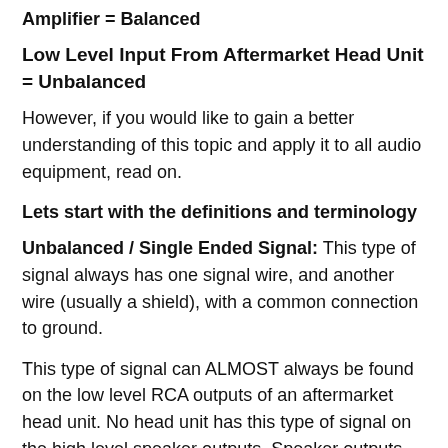Amplifier = Balanced
Low Level Input From Aftermarket Head Unit = Unbalanced
However, if you would like to gain a better understanding of this topic and apply it to all audio equipment, read on.
Lets start with the definitions and terminology
Unbalanced / Single Ended Signal: This type of signal always has one signal wire, and another wire (usually a shield), with a common connection to ground.
This type of signal can ALMOST always be found on the low level RCA outputs of an aftermarket head unit. No head unit has this type of signal on the high level speaker outputs. Speaker outputs are ALWAYS Balanced / Differential.
This is what an unbalanced signal looks like on an oscilloscope. Channel 1 is on the center pin of the RCA and channel 2 is on the shield. Notice how the signal is only